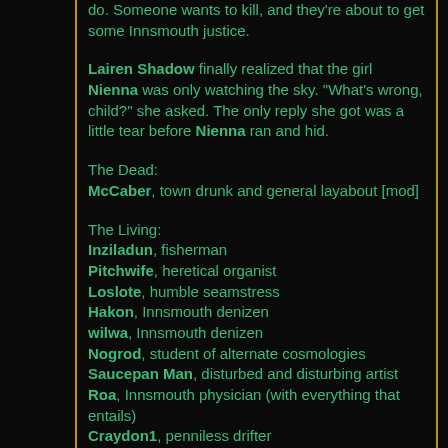do. Someone wants to kill, and they're about to get some Innsmouth justice.
Lairen Shadow finally realized that the girl Nienna was only watching the sky. "What's wrong, child?" she asked. The only reply she got was a little tear before Nienna ran and hid.
The Dead:
McCaber, town drunk and general layabout [mod]
The Living:
Inziladun, fisherman
Pitchwife, heretical organist
Loslote, humble seamstress
Hakon, Innsmouth denizen
wilwa, Innsmouth denizen
Nogrod, student of alternate cosmologies
Saucepan Man, disturbed and disturbing artist
Roa, Innsmouth physician (with everything that entails)
Craydon1, penniless drifter